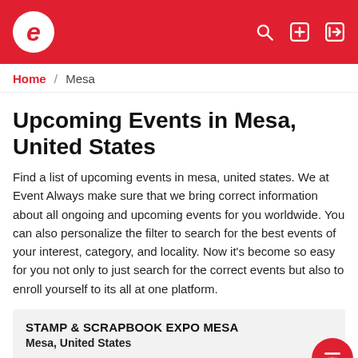Eventbrite header with logo and navigation icons
Home / Mesa
Upcoming Events in Mesa, United States
Find a list of upcoming events in mesa, united states. We at Event Always make sure that we bring correct information about all ongoing and upcoming events for you worldwide. You can also personalize the filter to search for the best events of your interest, category, and locality. Now it's become so easy for you not only to just search for the correct events but also to enroll yourself to its all at one platform.
STAMP & SCRAPBOOK EXPO MESA
Mesa, United States